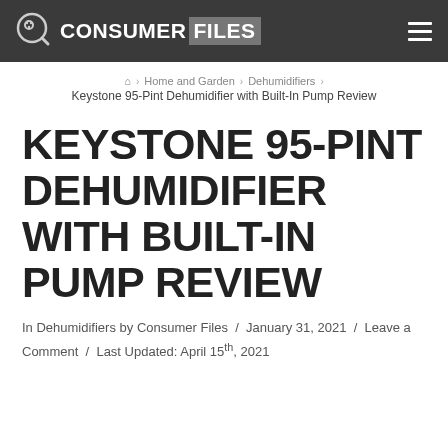CONSUMER FILES
Home and Garden > Dehumidifiers > Keystone 95-Pint Dehumidifier with Built-In Pump Review
KEYSTONE 95-PINT DEHUMIDIFIER WITH BUILT-IN PUMP REVIEW
In Dehumidifiers by Consumer Files / January 31, 2021 / Leave a Comment / Last Updated: April 15th, 2021